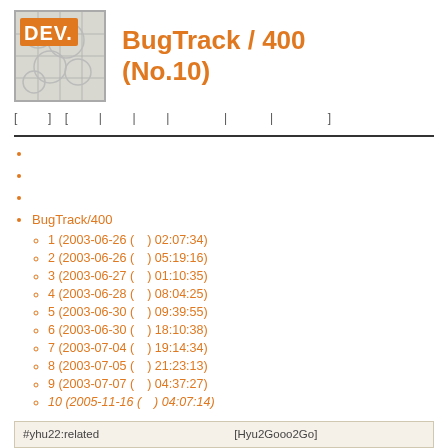[Figure (logo): DEV. logo with engineering/circuit board background graphic]
BugTrack / 400 　　　　 (No.10)
[ 　　 ]   [ 　 | 　 | 　 | 　　　 | 　　 | 　　　 ]
BugTrack/400
1 (2003-06-26 (　) 02:07:34)
2 (2003-06-26 (　) 05:19:16)
3 (2003-06-27 (　) 01:10:35)
4 (2003-06-28 (　) 08:04:25)
5 (2003-06-30 (　) 09:39:55)
6 (2003-06-30 (　) 18:10:38)
7 (2003-07-04 (　) 19:14:34)
8 (2003-07-05 (　) 21:23:13)
9 (2003-07-07 (　) 04:37:27)
10 (2005-11-16 (　) 04:07:14)
#yhu22:related　　　　　　　　　　　 [Hyu2Gooo2Go]